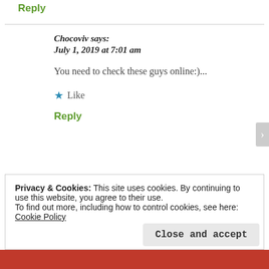Reply
Chocoviv says:
July 1, 2019 at 7:01 am
You need to check these guys online:)...
★ Like
Reply
Privacy & Cookies: This site uses cookies. By continuing to use this website, you agree to their use.
To find out more, including how to control cookies, see here: Cookie Policy
Close and accept